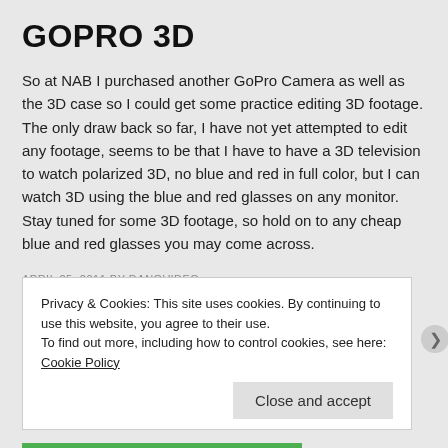GOPRO 3D
So at NAB I purchased another GoPro Camera as well as the 3D case so I could get some practice editing 3D footage. The only draw back so far, I have not yet attempted to edit any footage, seems to be that I have to have a 3D television to watch polarized 3D, no blue and red in full color, but I can watch 3D using the blue and red glasses on any monitor. Stay tuned for some 3D footage, so hold on to any cheap blue and red glasses you may come across.
APRIL 25, 2011 BY DANOVIDEO
CATEGORIES: NAB
LEAVE A COMMENT
Privacy & Cookies: This site uses cookies. By continuing to use this website, you agree to their use.
To find out more, including how to control cookies, see here: Cookie Policy
Close and accept